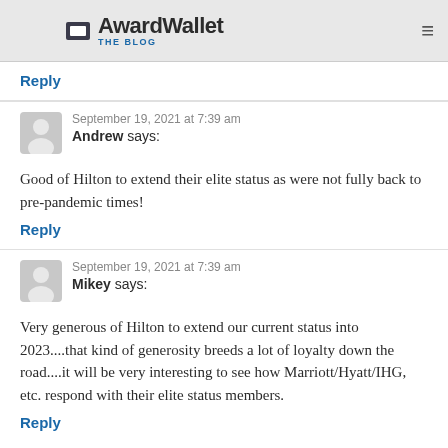AwardWallet THE BLOG
Reply
September 19, 2021 at 7:39 am
Andrew says:
Good of Hilton to extend their elite status as were not fully back to pre-pandemic times!
Reply
September 19, 2021 at 7:39 am
Mikey says:
Very generous of Hilton to extend our current status into 2023....that kind of generosity breeds a lot of loyalty down the road....it will be very interesting to see how Marriott/Hyatt/IHG, etc. respond with their elite status members.
Reply